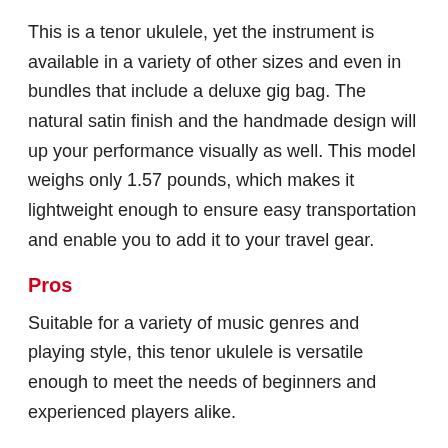This is a tenor ukulele, yet the instrument is available in a variety of other sizes and even in bundles that include a deluxe gig bag. The natural satin finish and the handmade design will up your performance visually as well. This model weighs only 1.57 pounds, which makes it lightweight enough to ensure easy transportation and enable you to add it to your travel gear.
Pros
Suitable for a variety of music genres and playing style, this tenor ukulele is versatile enough to meet the needs of beginners and experienced players alike.